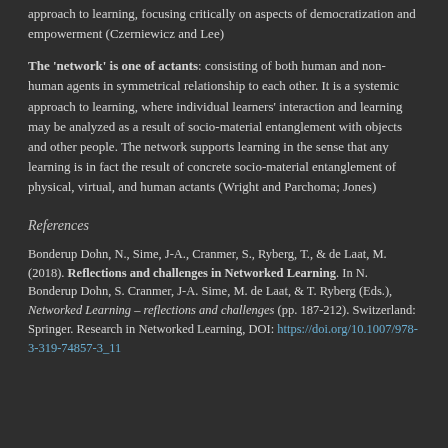approach to learning, focusing critically on aspects of democratization and empowerment (Czerniewicz and Lee)
The 'network' is one of actants: consisting of both human and non-human agents in symmetrical relationship to each other. It is a systemic approach to learning, where individual learners' interaction and learning may be analyzed as a result of socio-material entanglement with objects and other people. The network supports learning in the sense that any learning is in fact the result of concrete socio-material entanglement of physical, virtual, and human actants (Wright and Parchoma; Jones)
References
Bonderup Dohn, N., Sime, J-A., Cranmer, S., Ryberg, T., & de Laat, M. (2018). Reflections and challenges in Networked Learning. In N. Bonderup Dohn, S. Cranmer, J-A. Sime, M. de Laat, & T. Ryberg (Eds.), Networked Learning – reflections and challenges (pp. 187-212). Switzerland: Springer. Research in Networked Learning, DOI: https://doi.org/10.1007/978-3-319-74857-3_11